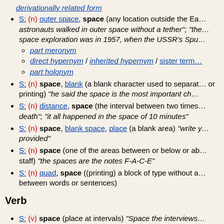derivationally related form
S: (n) outer space, space (any location outside the Earth's atmosphere; "astronauts walked in outer space without a tether"; "the first space exploration was in 1957, when the USSR's Spu...")
- part meronym
- direct hypernym / inherited hypernym / sister term
- part holonym
S: (n) space, blank (a blank character used to separate... or printing) "he said the space is the most important ch..."
S: (n) distance, space (the interval between two times;... death"; "it all happened in the space of 10 minutes"
S: (n) space, blank space, place (a blank area) "write y... provided"
S: (n) space (one of the areas between or below or ab... staff) "the spaces are the notes F-A-C-E"
S: (n) quad, space ((printing) a block of type without a... between words or sentences)
Verb
S: (v) space (place at intervals) "Space the interviews... between the different candidates"